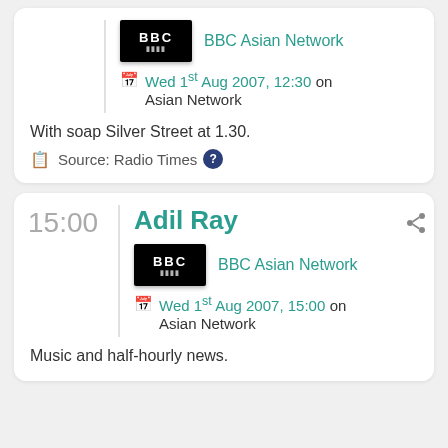[Figure (logo): BBC Asian Network logo - black rectangle with BBC text in white]
BBC Asian Network
Wed 1st Aug 2007, 12:30 on Asian Network
With soap Silver Street at 1.30.
Source: Radio Times ?
15:00
Adil Ray
[Figure (logo): BBC Asian Network logo - black rectangle with BBC text in white]
BBC Asian Network
Wed 1st Aug 2007, 15:00 on Asian Network
Music and half-hourly news.